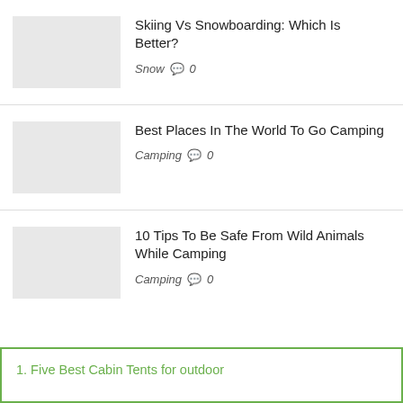Skiing Vs Snowboarding: Which Is Better?
Snow  💬 0
Best Places In The World To Go Camping
Camping  💬 0
10 Tips To Be Safe From Wild Animals While Camping
Camping  💬 0
1. Five Best Cabin Tents for outdoor